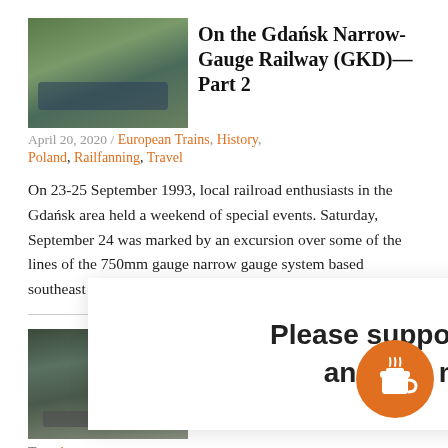[Figure (photo): Thumbnail photo of a narrow-gauge train on tracks surrounded by green vegetation]
On the Gdańsk Narrow-Gauge Railway (GKD)—Part 2
April 20, 2020 /
European Trains, History, Poland, Railfanning, Travel
On 23-25 September 1993, local railroad enthusiasts in the Gdańsk area held a weekend of special events. Saturday, September 24 was marked by an excursion over some of the lines of the 750mm gauge narrow gauge system based southeast of [...]
[Figure (photo): Thumbnail photo of a railway scene with trees]
Ghosts of the Newfoundland Railway
Travel
I first oper Nolligan's article on the island's mixed trains
Please support more content and buy me a coffee!